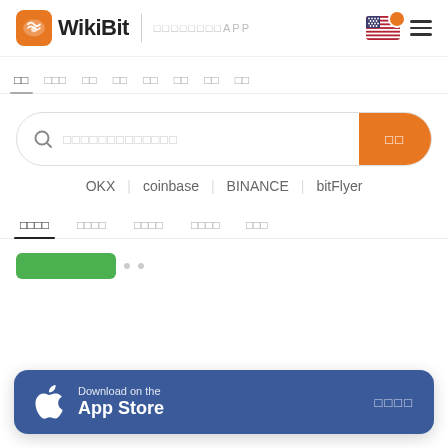WikiBit | 下载WikiBit APP
首页 | 交易所 | 监管 | 黑名单 | 行情 | 新闻 | 社区 | 入驻
搜索框：搜索交易所/货币/监管
OKX | coinbase | BINANCE | bitFlyer
全部交易所 | 现货交易所 | 合约交易所 | 期权交易所 | 钱包
[Figure (screenshot): Partially visible content items below sub-tabs]
Download on the App Store | 立即下载